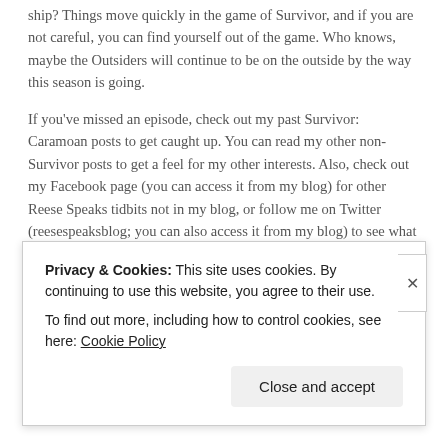ship? Things move quickly in the game of Survivor, and if you are not careful, you can find yourself out of the game. Who knows, maybe the Outsiders will continue to be on the outside by the way this season is going.
If you've missed an episode, check out my past Survivor: Caramoan posts to get caught up. You can read my other non-Survivor posts to get a feel for my other interests. Also, check out my Facebook page (you can access it from my blog) for other Reese Speaks tidbits not in my blog, or follow me on Twitter (reesespeaksblog; you can also access it from my blog) to see what I'm up to!
Until my next post, Readers!
Privacy & Cookies: This site uses cookies. By continuing to use this website, you agree to their use.
To find out more, including how to control cookies, see here: Cookie Policy